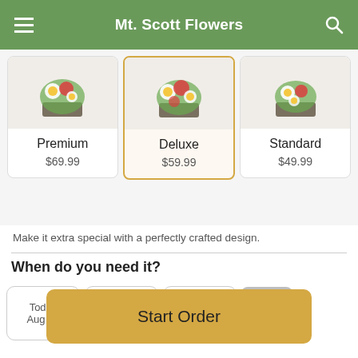Mt. Scott Flowers
[Figure (screenshot): Three flower arrangement product cards: Premium $69.99, Deluxe $59.99 (selected/highlighted), Standard $49.99]
Make it extra special with a perfectly crafted design.
When do you need it?
[Figure (infographic): Date selection cards showing: Today Aug 28, Mon Aug 29, Tue Aug 30, with up-arrow scroll button]
Start Order